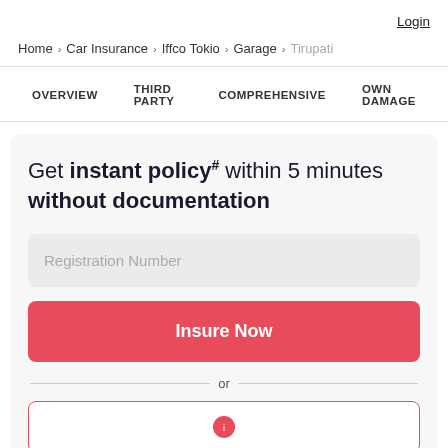Login
Home > Car Insurance > Iffco Tokio > Garage > Tirupati
OVERVIEW   THIRD PARTY   COMPREHENSIVE   OWN DAMAGE
Get instant policy# within 5 minutes without documentation
Registration Number
Insure Now
or